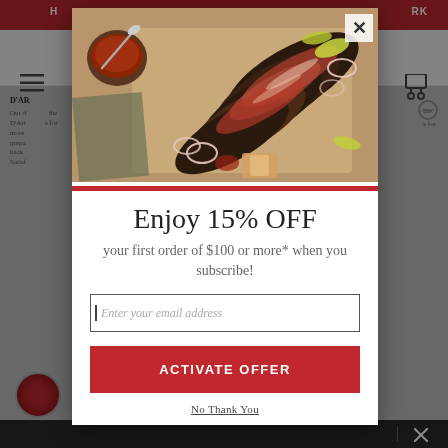[Figure (screenshot): Background website page partially visible behind modal overlay, showing a red top navigation bar, hamburger menu icon, cart icon, product description text starting with D'AR, a circular logo at bottom left, and a dark bottom bar.]
[Figure (photo): Photo of sliced brisket BBQ meat on a wooden cutting board with BBQ sauce in a bowl, onion rings, and pickle peppers, used as the hero image in the popup modal.]
Enjoy 15% OFF
your first order of $100 or more* when you subscribe!
Enter your email address
ACTIVATE OFFER
No Thank You